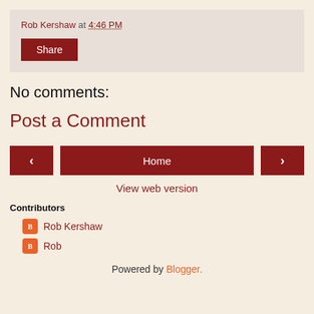Rob Kershaw at 4:46 PM
Share
No comments:
Post a Comment
< Home >
View web version
Contributors
Rob Kershaw
Rob
Powered by Blogger.